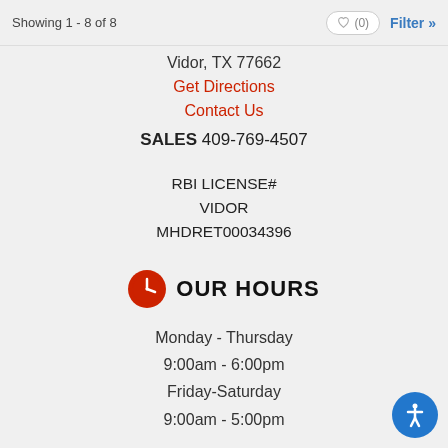Showing 1 - 8 of 8
Vidor, TX 77662
Get Directions
Contact Us
SALES 409-769-4507
RBI LICENSE# VIDOR MHDRET00034396
OUR HOURS
Monday - Thursday
9:00am - 6:00pm
Friday-Saturday
9:00am - 5:00pm